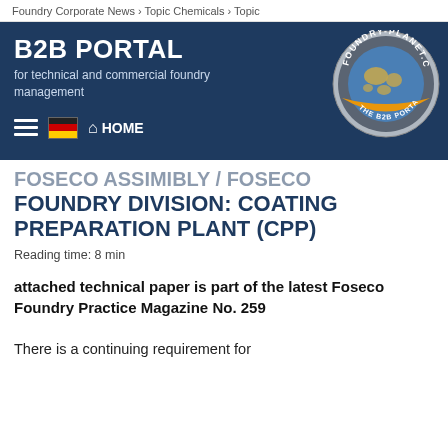Foundry Corporate News › Topic Chemicals › Topic
B2B PORTAL
for technical and commercial foundry management
[Figure (logo): Foundry-Planet.com B2B Portal circular logo with globe and orange/silver ring]
FOSECO ASSIMIBLY / FOSECO FOUNDRY DIVISION: COATING PREPARATION PLANT (CPP)
Reading time: 8 min
attached technical paper is part of the latest Foseco Foundry Practice Magazine No. 259
There is a continuing requirement for